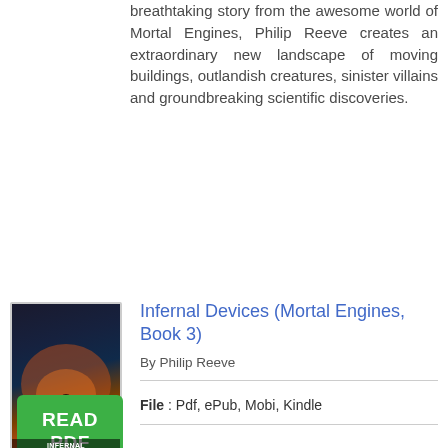breathtaking story from the awesome world of Mortal Engines, Philip Reeve creates an extraordinary new landscape of moving buildings, outlandish creatures, sinister villains and groundbreaking scientific discoveries.
[Figure (illustration): Book cover of Infernal Devices (Mortal Engines, Book 3) showing a dark fantasy scene with fire and a figure silhouetted against an orange sky]
Infernal Devices (Mortal Engines, Book 3)
By Philip Reeve
File : Pdf, ePub, Mobi, Kindle
Publisher : Scholastic Inc.
Book Code : 0545394457